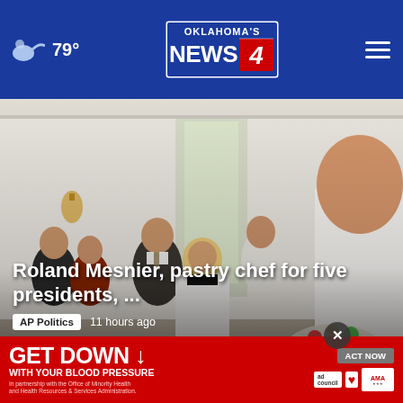Oklahoma's News 4 — 79°
[Figure (photo): Group of people in white chef uniforms standing in a formal white room with gold wall sconces, smiling. A large man in white at right holds a floral cake. A news article overlay is present.]
Roland Mesnier, pastry chef for five presidents, ...
AP Politics   11 hours ago
WASHINGTON (AP) — Roland Mesnier, who created of magical desserts for five presidents and their guests at White House,
His de…
[Figure (screenshot): Advertisement banner: GET DOWN WITH YOUR BLOOD PRESSURE — ACT NOW button, ad council logo, heart association logo, AMA logo. In partnership with the Office of Minority Health and Health Resources & Services Administration.]